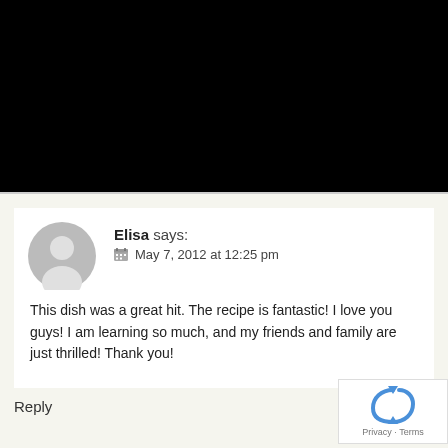[Figure (photo): Black rectangle occupying the top portion of the page (cropped image area)]
Elisa says:
May 7, 2012 at 12:25 pm

This dish was a great hit. The recipe is fantastic! I love you guys! I am learning so much, and my friends and family are just thrilled! Thank you!
Reply